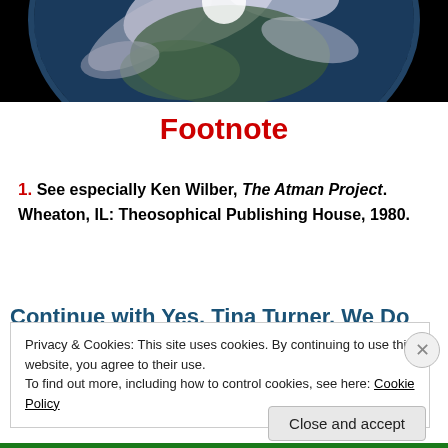[Figure (photo): Photograph of Earth from space showing cloud patterns and blue glow at the edge, against black background]
Footnote
1. See especially Ken Wilber, The Atman Project. Wheaton, IL: Theosophical Publishing House, 1980.
Continue with Yes, Tina Turner, We Do
Privacy & Cookies: This site uses cookies. By continuing to use this website, you agree to their use.
To find out more, including how to control cookies, see here: Cookie Policy
Close and accept